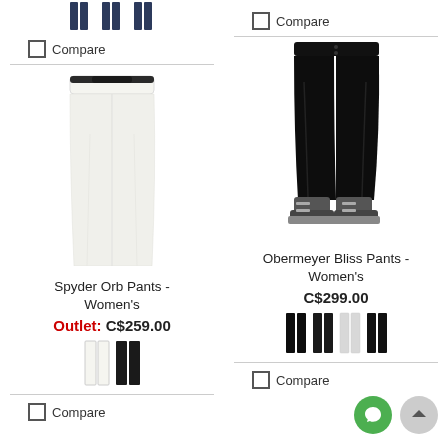[Figure (photo): Top portion of previous product pants (partial, cut off at top) - left column]
Compare
[Figure (photo): Compare checkbox - right column top]
[Figure (photo): White Spyder Orb ski pants - women's]
[Figure (photo): Black Obermeyer Bliss ski pants worn with ski boots - women's]
Spyder Orb Pants - Women's
Outlet: C$259.00
[Figure (photo): Color swatches: white and black pants thumbnails]
Obermeyer Bliss Pants - Women's
C$299.00
[Figure (photo): Color swatches: four pants thumbnails (black, dark, white/grey, black)]
Compare
Compare